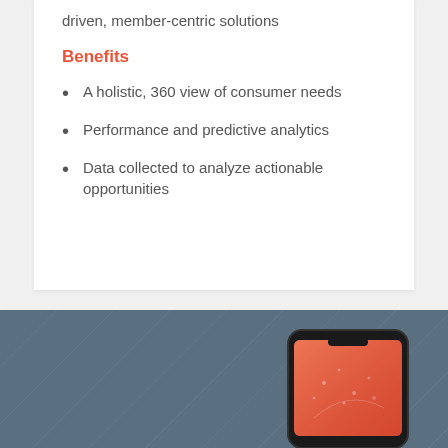driven, member-centric solutions
Benefits
A holistic, 360 view of consumer needs
Performance and predictive analytics
Data collected to analyze actionable opportunities
[Figure (photo): Bottom section with dark blue-grey background showing a smartphone with a red/orange gradient app screen, partially visible at the bottom right of the page. Diagonal line patterns on the background.]